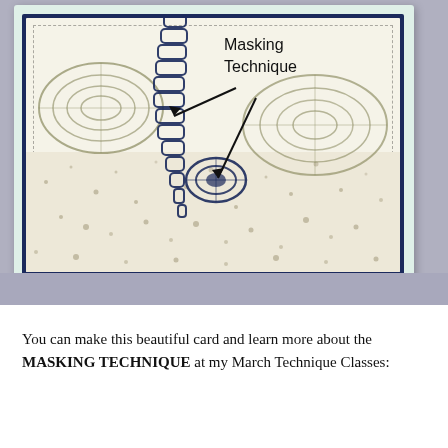[Figure (photo): Close-up photo of a handmade greeting card showing a seahorse scene with masking technique. The card has a light mint outer layer, navy blue mat, and cream inner panel with a stitched dashed border. Olive/tan shell and seahorse stamped images are visible, with two black arrows pointing to seahorse body parts labeled 'Masking Technique'. Sandy dotted texture at the bottom. Card sits on a light purple/gray surface.]
You can make this beautiful card and learn more about the MASKING TECHNIQUE at my March Technique Classes: